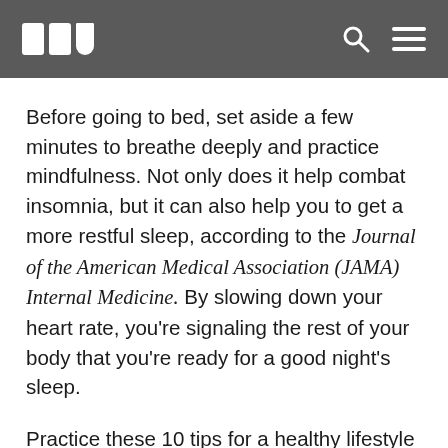[Logo] [Search] [Menu]
Before going to bed, set aside a few minutes to breathe deeply and practice mindfulness. Not only does it help combat insomnia, but it can also help you to get a more restful sleep, according to the Journal of the American Medical Association (JAMA) Internal Medicine. By slowing down your heart rate, you're signaling the rest of your body that you're ready for a good night's sleep.
Practice these 10 tips for a healthy lifestyle to make the most of your everyday life. By developing healthy habits, you'll be more likely to live a happier life that's fulfilling, fun, and stress-